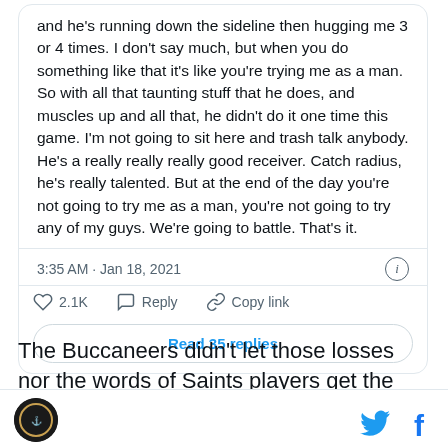or 4 times. I don't say much, but when you do something like that it's like you're trying me as a man. So with all that taunting stuff that he does, and muscles up and all that, he didn't do it one time this game. I'm not going to sit here and trash talk anybody. He's a really really really good receiver. Catch radius, he's really talented. But at the end of the day you're not going to try me as a man, you're not going to try any of my guys. We're going to battle. That's it.
3:35 AM · Jan 18, 2021
2.1K  Reply  Copy link
Read 35 replies
The Buccaneers didn't let those losses nor the words of Saints players get the best of them as they